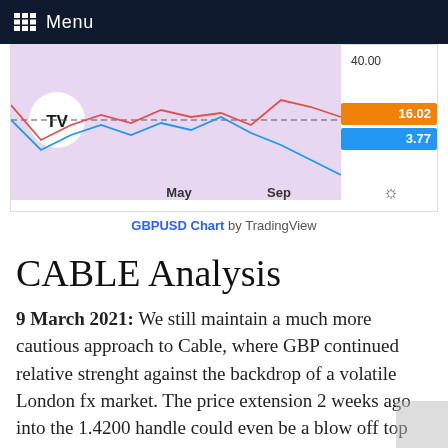Menu
[Figure (continuous-plot): GBPUSD line chart from TradingView showing two oscillating lines (red and blue) over a period from approximately May to Sep on a purple/pink background. Y-axis values visible: 40.00, 16.02 (orange label), 3.77 (blue label). A dashed horizontal line crosses the chart. TradingView logo (TV) visible on left side.]
GBPUSD Chart by TradingView
CABLE Analysis
9 March 2021: We still maintain a much more cautious approach to Cable, where GBP continued relative strenght against the backdrop of a volatile London fx market. The price extension 2 weeks ago into the 1.4200 handle could even be a blow off top although we also maintain a milder approach to a